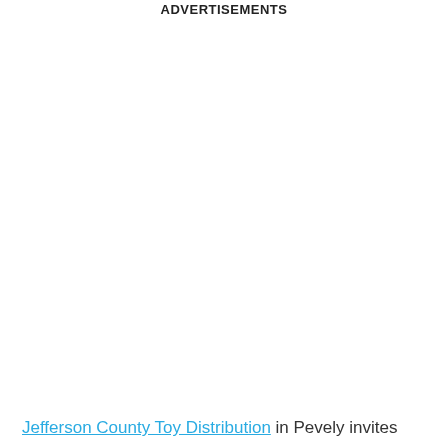ADVERTISEMENTS
Jefferson County Toy Distribution in Pevely invites